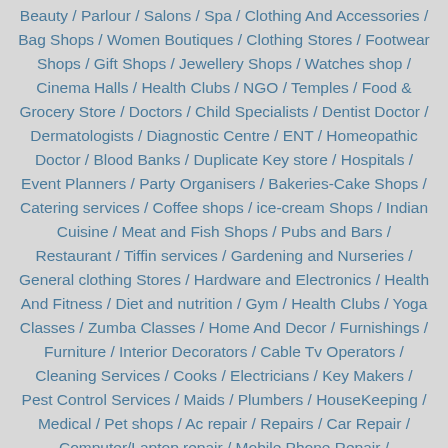Beauty / Parlour / Salons / Spa / Clothing And Accessories / Bag Shops / Women Boutiques / Clothing Stores / Footwear Shops / Gift Shops / Jewellery Shops / Watches shop / Cinema Halls / Health Clubs / NGO / Temples / Food & Grocery Store / Doctors / Child Specialists / Dentist Doctor / Dermatologists / Diagnostic Centre / ENT / Homeopathic Doctor / Blood Banks / Duplicate Key store / Hospitals / Event Planners / Party Organisers / Bakeries-Cake Shops / Catering services / Coffee shops / ice-cream Shops / Indian Cuisine / Meat and Fish Shops / Pubs and Bars / Restaurant / Tiffin services / Gardening and Nurseries / General clothing Stores / Hardware and Electronics / Health And Fitness / Diet and nutrition / Gym / Health Clubs / Yoga Classes / Zumba Classes / Home And Decor / Furnishings / Furniture / Interior Decorators / Cable Tv Operators / Cleaning Services / Cooks / Electricians / Key Makers / Pest Control Services / Maids / Plumbers / HouseKeeping / Medical / Pet shops / Ac repair / Repairs / Car Repair / Computer/Laptop repair / Mobile Phone Repair / Refrigerator repairs / Washing Machine repair / Water Purifier Repairs / security services / Travel Agent / Courier services / Books & Stationary / Sports Academy / Sports / Cab services / Wedding planners / Pathology Labs / Hospital Emergency